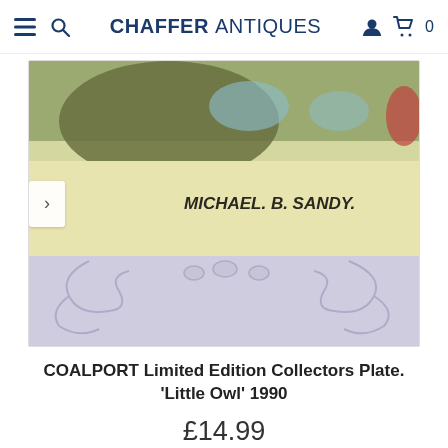CHAFFER ANTIQUES
[Figure (photo): Close-up photograph of the back of a Coalport collector's plate showing the artist signature 'Michael B. Sandy' in black script, resting on a decorative clear acrylic plate stand with scroll details, against a white surface.]
COALPORT Limited Edition Collectors Plate. 'Little Owl' 1990
£14.99
Add to cart